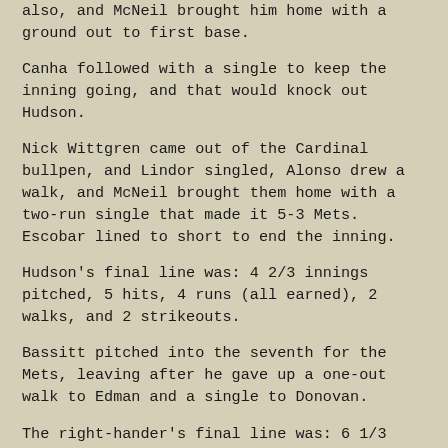also, and McNeil brought him home with a ground out to first base.
Canha followed with a single to keep the inning going, and that would knock out Hudson.
Nick Wittgren came out of the Cardinal bullpen, and Lindor singled, Alonso drew a walk, and McNeil brought them home with a two-run single that made it 5-3 Mets. Escobar lined to short to end the inning.
Hudson's final line was: 4 2/3 innings pitched, 5 hits, 4 runs (all earned), 2 walks, and 2 strikeouts.
Bassitt pitched into the seventh for the Mets, leaving after he gave up a one-out walk to Edman and a single to Donovan.
The right-hander's final line was: 6 1/3 innings, 9 hits, 4 runs (all earned), 1